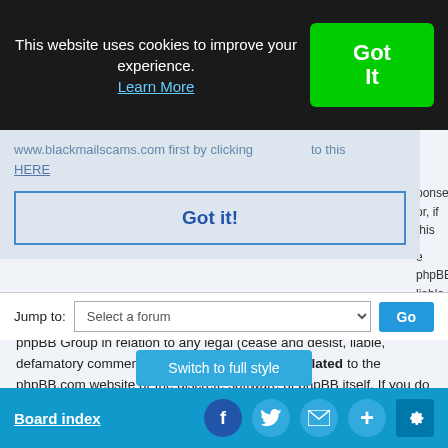This website uses cookies to improve your experience. Learn More
Got It
www.blackmailscams.com first by clicking to this HERE
Got it!
ponse or, if this e phpBB liable
over now, where or by whom this board is used. Do not contact the phpBB Group in relation to any legal (cease and desist, liable, defamatory comment, etc.) matter not directly related to the phpBB.com website or the discrete software of phpBB itself. If you do e-mail phpBB Group about any third party use of this software then you should expect a terse response or no response at all.
Top
Jump to: Select a forum Go
Switch to full style
Board index